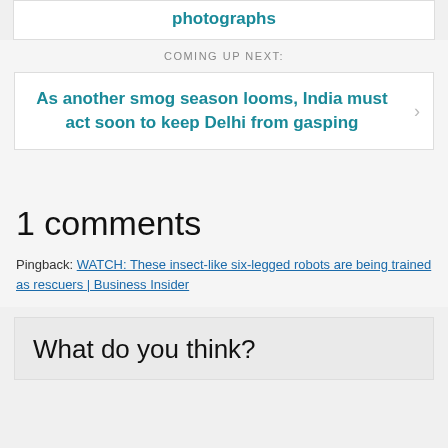photographs
COMING UP NEXT:
As another smog season looms, India must act soon to keep Delhi from gasping
1 comments
Pingback: WATCH: These insect-like six-legged robots are being trained as rescuers | Business Insider
What do you think?